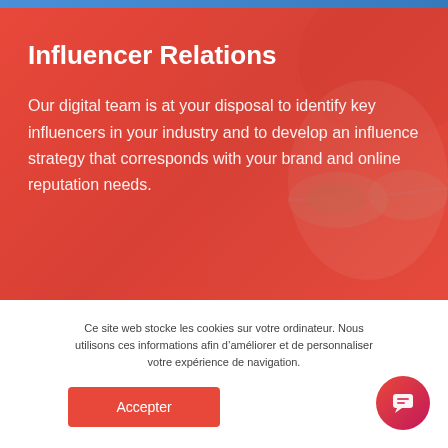[Figure (photo): Hero section with red/coral background overlay on a photo of a woman wearing reflective sunglasses. The image is partially visible on the right side.]
Influencer Relations
Our digital team is at your disposal to identify key influencers in your industry and to develop an influence strategy that corresponds with your brand and online reputation needs.
Ce site web stocke les cookies sur votre ordinateur. Nous utilisons ces informations afin d’améliorer et de personnaliser votre expérience de navigation.
Accepter